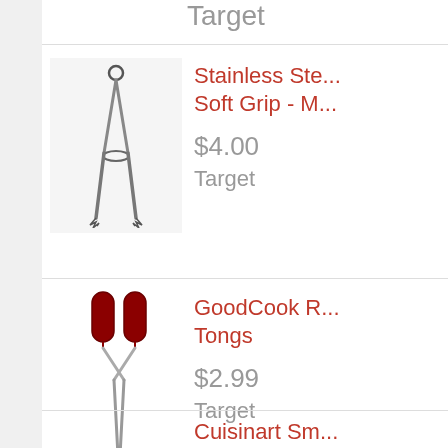Target
[Figure (photo): Stainless steel kitchen tongs with soft grip handles, shown vertically]
Stainless Ste... Soft Grip - M...
$4.00
Target
[Figure (photo): GoodCook red-handled kitchen tongs shown vertically]
GoodCook R... Tongs
$2.99
Target
Cuisinart Sm...